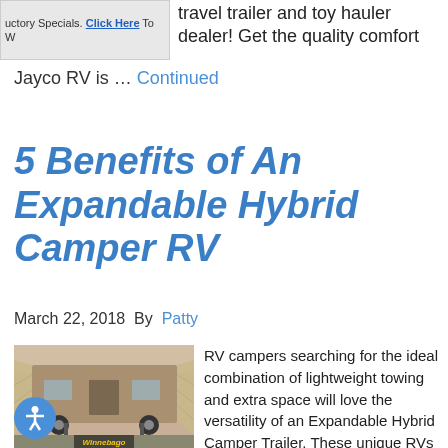[Figure (screenshot): Advertisement banner showing 'uctory Specials. Click Here To W...' text with a blue clickable link]
travel trailer and toy hauler dealer! Get the quality comfort
Jayco RV is … Continued
5 Benefits of An Expandable Hybrid Camper RV
March 22, 2018 By Patty
[Figure (photo): Photo of an expandable hybrid camper trailer with fold-out tent sides, shown in a dealership. A yellow Winnebago/dealership logo is visible at the bottom. An accessibility icon (person with arms outstretched in a circle) overlaps the bottom-left of the photo.]
RV campers searching for the ideal combination of lightweight towing and extra space will love the versatility of an Expandable Hybrid Camper Trailer. These unique RVs have fold out side walls that turn into tent covered